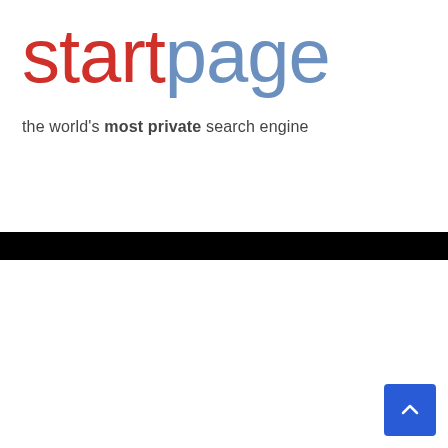[Figure (logo): Startpage logo with 'start' in red and 'page' in blue, large display font]
the world's most private search engine
[Figure (screenshot): White panel area below black bar — blank content area of a webpage]
[Figure (other): Blue scroll-to-top button with upward chevron arrow, bottom-right corner]